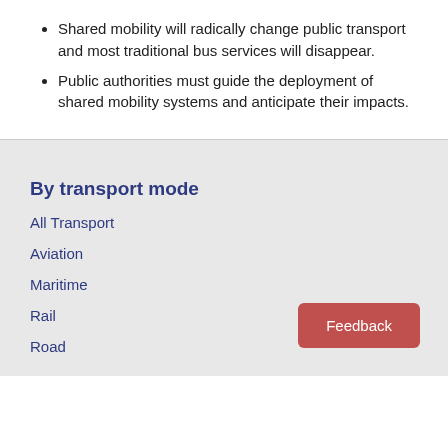Shared mobility will radically change public transport and most traditional bus services will disappear.
Public authorities must guide the deployment of shared mobility systems and anticipate their impacts.
By transport mode
All Transport
Aviation
Maritime
Rail
Road